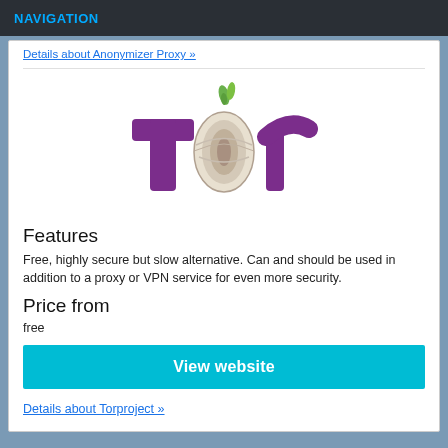NAVIGATION
Details about Anonymizer Proxy »
[Figure (logo): Tor Project logo — purple stylized letters 'Tor' with an onion in place of the 'o']
Features
Free, highly secure but slow alternative. Can and should be used in addition to a proxy or VPN service for even more security.
Price from
free
View website
Details about Torproject »
Also, its possible to use Googles free Translate Tool as a proxy server to uncensor websites.
Whats with video streaming?